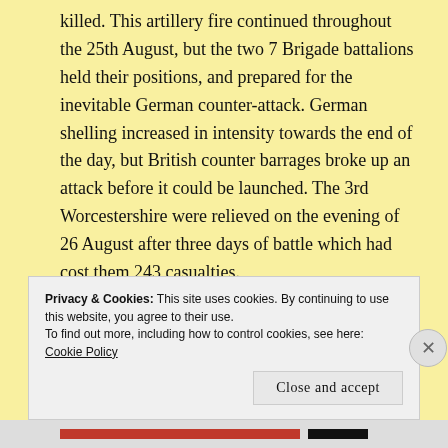killed. This artillery fire continued throughout the 25th August, but the two 7 Brigade battalions held their positions, and prepared for the inevitable German counter-attack. German shelling increased in intensity towards the end of the day, but British counter barrages broke up an attack before it could be launched. The 3rd Worcestershire were relieved on the evening of 26 August after three days of battle which had cost them 243 casualties.
Privacy & Cookies: This site uses cookies. By continuing to use this website, you agree to their use.
To find out more, including how to control cookies, see here: Cookie Policy
Close and accept